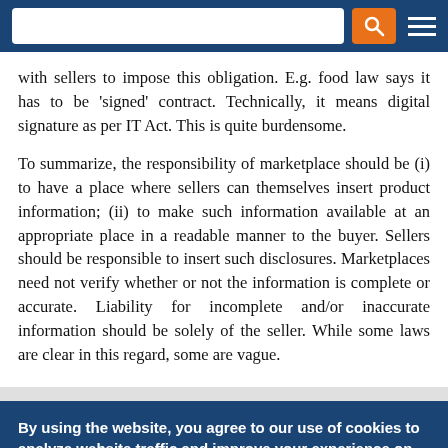Navigation bar with search and menu
with sellers to impose this obligation. E.g. food law says it has to be 'signed' contract. Technically, it means digital signature as per IT Act. This is quite burdensome.
To summarize, the responsibility of marketplace should be (i) to have a place where sellers can themselves insert product information; (ii) to make such information available at an appropriate place in a readable manner to the buyer. Sellers should be responsible to insert such disclosures. Marketplaces need not verify whether or not the information is complete or accurate. Liability for incomplete and/or inaccurate information should be solely of the seller. While some laws are clear in this regard, some are vague.
By using the website, you agree to our use of cookies to analyze website traffic and improve your experience on our website. Learn more.